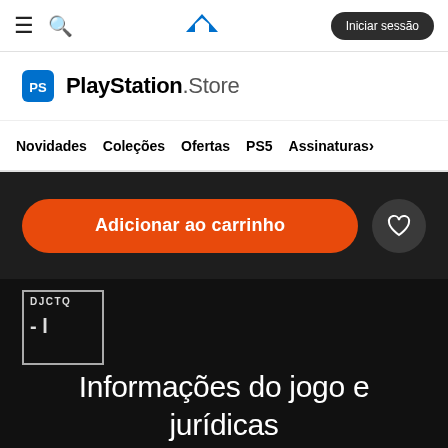PlayStation Store - Iniciar sessão
[Figure (logo): PlayStation Store logo with shopping bag icon]
Novidades  Coleções  Ofertas  PS5  Assinaturas
Adicionar ao carrinho
[Figure (other): DJCTQ rating box showing classification -l]
Informações do jogo e jurídicas